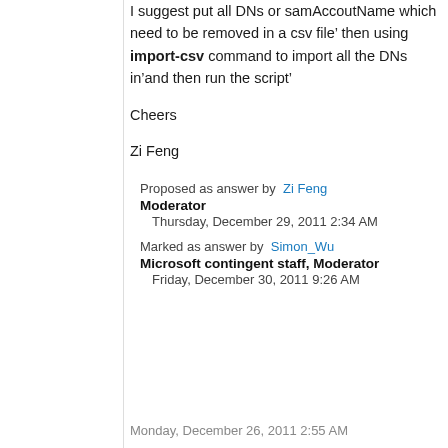I suggest put all DNs or samAccoutName which need to be removed in a csv file’ then using import-csv command to import all the DNs in’and then run the script’
Cheers
Zi Feng
Proposed as answer by  Zi Feng  Moderator  Thursday, December 29, 2011 2:34 AM
Marked as answer by  Simon_Wu  Microsoft contingent staff, Moderator  Friday, December 30, 2011 9:26 AM
Monday, December 26, 2011 2:55 AM